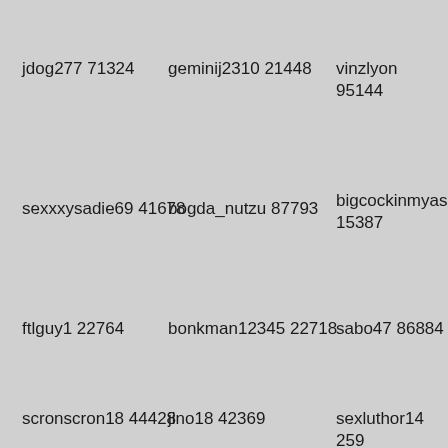jdog277 71324
geminij2310 21448
vinzlyon 95144
sexxxysadie69 41678
bogda_nutzu 87793
bigcockinmyass 15387
ftlguy1 22764
bonkman12345 22718
sabo47 86884
scronscron18 44428
jino18 42369
sexluthor14 259